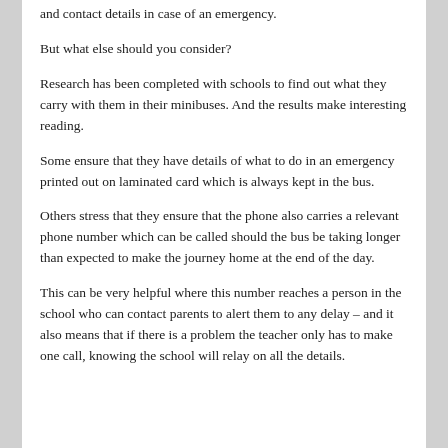and contact details in case of an emergency.
But what else should you consider?
Research has been completed with schools to find out what they carry with them in their minibuses. And the results make interesting reading.
Some ensure that they have details of what to do in an emergency printed out on laminated card which is always kept in the bus.
Others stress that they ensure that the phone also carries a relevant phone number which can be called should the bus be taking longer than expected to make the journey home at the end of the day.
This can be very helpful where this number reaches a person in the school who can contact parents to alert them to any delay – and it also means that if there is a problem the teacher only has to make one call, knowing the school will relay on all the details.